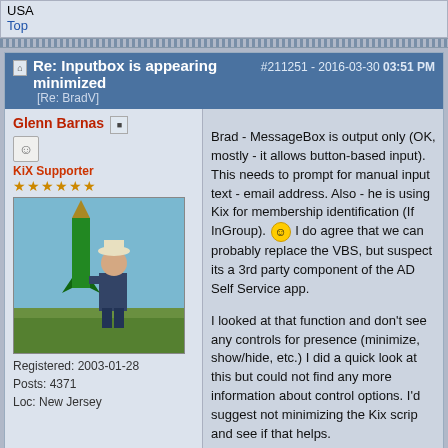USA
Top
Re: Inputbox is appearing minimized #211251 - 2016-03-30 03:51 PM [Re: BradV]
Glenn Barnas
KiX Supporter
Registered: 2003-01-28
Posts: 4371
Loc: New Jersey
Brad - MessageBox is output only (OK, mostly - it allows button-based input). This needs to prompt for manual input text - email address. Also - he is using Kix for membership identification (If InGroup). I do agree that we can probably replace the VBS, but suspect its a 3rd party component of the AD Self Service app.

I looked at that function and don't see any controls for presence (minimize, show/hide, etc.) I did a quick look at this but could not find any more information about control options. I'd suggest not minimizing the Kix script and see if that helps.

KixForms would certainly help here, but that would require deploying/registering the DLL. Not as big an issue as you might suspect. I've used a BAT file to copy Kixforms.dll to C:\TEMP, register it with RegSvr32, then invoked the Kix/KF app, and then unregistered/delete the DLL. Hardly took any time at all. User permissions could be an issue with this, however, as users rarely have the needed rights nowadays.

Glenn